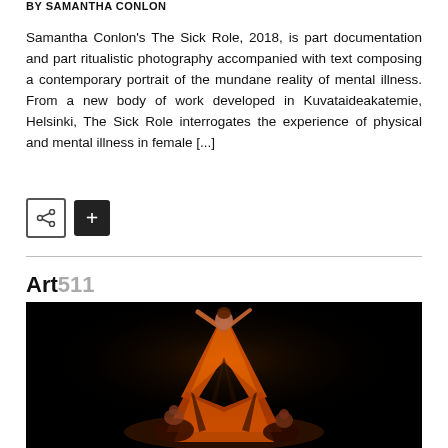BY SAMANTHA CONLON
Samantha Conlon's The Sick Role, 2018, is part documentation and part ritualistic photography accompanied with text composing a contemporary portrait of the mundane reality of mental illness. From a new body of work developed in Kuvataideakatemie, Helsinki, The Sick Role interrogates the experience of physical and mental illness in female [...]
[Figure (other): Share icon button (arrow with dots) and a black plus button]
Art511
[Figure (photo): Dark stage performance photo. A performer in an elaborate orange and black flowing costume stands with arms raised in the center spotlight. Two other figures are seated on the dark stage floor beside her.]